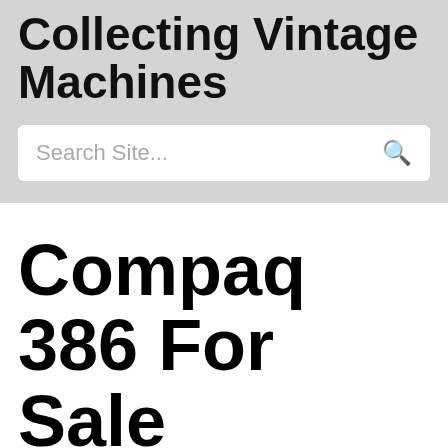Collecting Vintage Machines
Search Site...
Compaq 386 For Sale